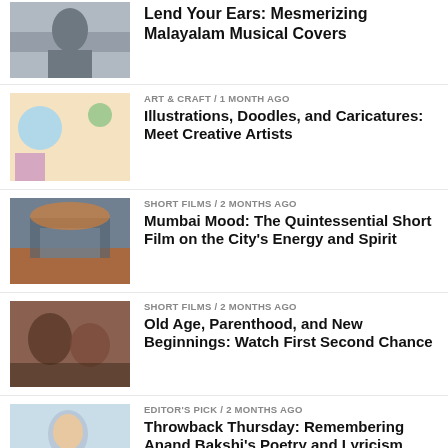Lend Your Ears: Mesmerizing Malayalam Musical Covers
ART & CRAFT / 1 month ago — Illustrations, Doodles, and Caricatures: Meet Creative Artists
SHORT FILMS / 2 months ago — Mumbai Mood: The Quintessential Short Film on the City's Energy and Spirit
SHORT FILMS / 2 months ago — Old Age, Parenthood, and New Beginnings: Watch First Second Chance
EDITOR'S PICK / 2 months ago — Throwback Thursday: Remembering Anand Bakshi's Poetry and Lyricism
CREATORS / 2 months ago